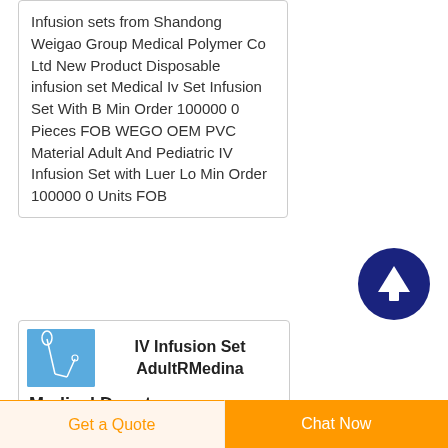Infusion sets from Shandong Weigao Group Medical Polymer Co Ltd New Product Disposable infusion set Medical Iv Set Infusion Set With B Min Order 100000 0 Pieces FOB WEGO OEM PVC Material Adult And Pediatric IV Infusion Set with Luer Lo Min Order 100000 0 Units FOB
[Figure (other): Dark blue circular scroll-to-top button with white upward arrow icon]
IV Infusion Set AdultRMedina Medical Depot
A standard IV infusion set
Get a Quote
Chat Now